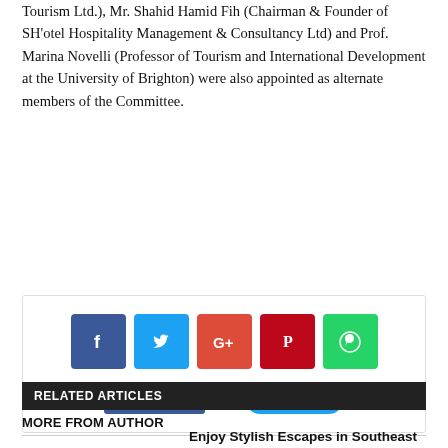Tourism Ltd.), Mr. Shahid Hamid Fih (Chairman & Founder of SH'otel Hospitality Management & Consultancy Ltd) and Prof. Marina Novelli (Professor of Tourism and International Development at the University of Brighton) were also appointed as alternate members of the Committee.
[Figure (infographic): Social media share buttons: Facebook (blue), Twitter (cyan), Google+ (red-orange), Pinterest (dark red), WhatsApp (green). Below: Like 0 button and Tweet button.]
RELATED ARTICLES
MORE FROM AUTHOR
Enjoy Stylish Escapes in Southeast Asia with Centara's Private Villas